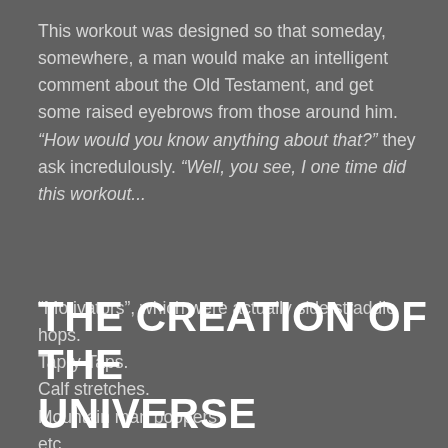This workout was designed so that someday, somewhere, a man would make an intelligent comment about the Old Testament, and get some raised eyebrows from those around him. “How would you know anything about that?” they ask incredulously. “Well, you see, I one time did this workout...
“Motivators”, which were actually side straddle hops.
Tap-y-Taps.
Calf stretches.
Mountain man poopers
etc.
THE CREATION OF THE UNIVERSE